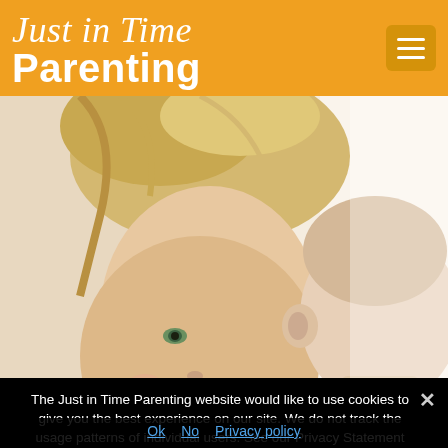Just in Time Parenting
[Figure (photo): A smiling blonde woman leaning toward a baby, looking at the baby with joy. Close-up photograph with light background.]
The Just in Time Parenting website would like to use cookies to give you the best experience on our site. We do not track the usage patterns of individual users. See our Privacy Statement for more information. Is this is ok?
Ok   No   Privacy policy